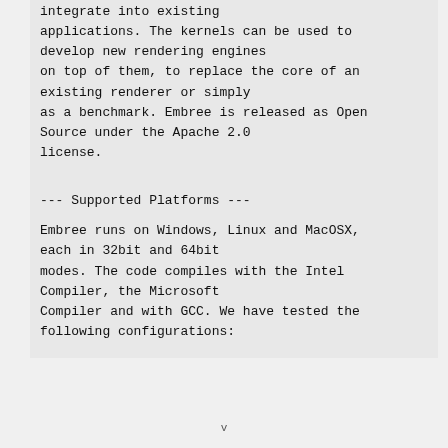tcunkit and they are very easy to integrate into existing applications. The kernels can be used to develop new rendering engines on top of them, to replace the core of an existing renderer or simply as a benchmark. Embree is released as Open Source under the Apache 2.0 license.
--- Supported Platforms ---
Embree runs on Windows, Linux and MacOSX, each in 32bit and 64bit modes. The code compiles with the Intel Compiler, the Microsoft Compiler and with GCC. We have tested the following configurations:
v